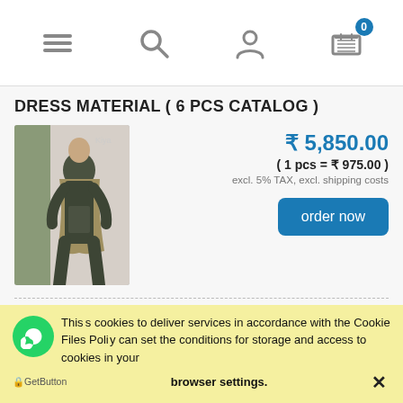Navigation header with menu, search, user, and cart icons (cart count: 0)
DRESS MATERIAL ( 6 PCS CATALOG )
[Figure (photo): Woman wearing a dark grey/olive embroidered salwar kameez with dupatta, standing in a doorway]
₹ 5,850.00
( 1 pcs = ₹ 975.00 )
excl. 5% TAX, excl. shipping costs
order now
Sanskruti Silk Mills Kishna Vol-4 Dress Material ( 6
This site uses cookies to deliver services in accordance with the Cookie Files Policy. You can set the conditions for storage and access to cookies in your browser settings. ✕